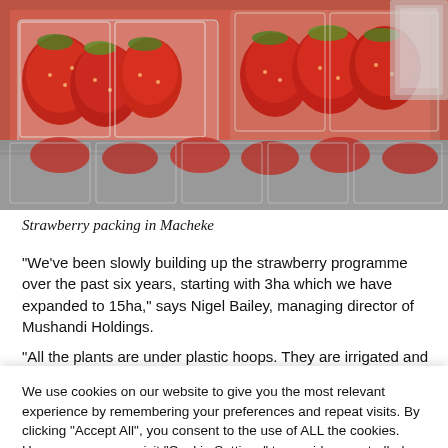[Figure (photo): Strawberries packed in clear plastic containers/punnets stacked on shelves in a packing facility in Macheke]
Strawberry packing in Macheke
“We’ve been slowly building up the strawberry programme over the past six years, starting with 3ha which we have expanded to 15ha,” says Nigel Bailey, managing director of Mushandi Holdings.
“All the plants are under plastic hoops. They are irrigated and fertilised using a highly sophisticated computerized fertigation drip system from
We use cookies on our website to give you the most relevant experience by remembering your preferences and repeat visits. By clicking “Accept All”, you consent to the use of ALL the cookies. However, you may visit "Cookie Settings" to provide a controlled consent.